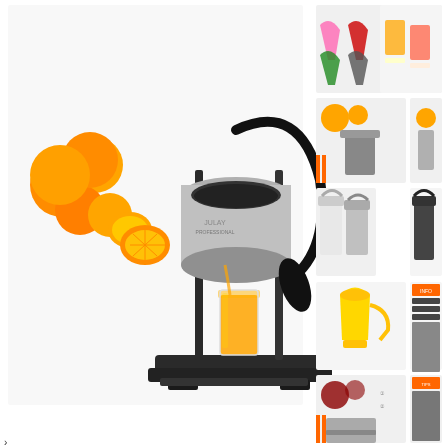[Figure (photo): Large main product image of a black manual citrus juicer/press with oranges and a glass of orange juice on a white background. Multiple smaller product images shown in a right column: colorful handheld juicers in pink, red, green, grey; juice glasses; orange juicer variations; white and chrome juicers; yellow juicer; grey/black juicers; pomegranate juice images.]